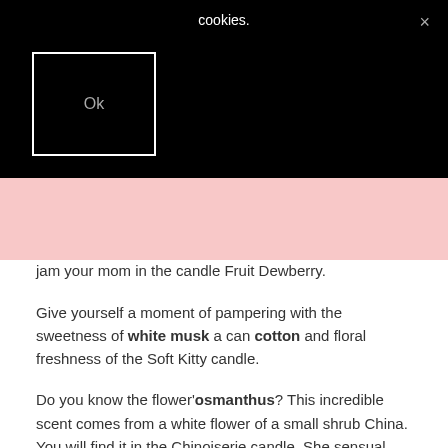[Figure (screenshot): Cookie consent banner overlay with black background, showing 'cookies.' text, an 'Ok' button in a white-bordered box, and an X close button]
jam your mom in the candle Fruit Dewberry.
Give yourself a moment of pampering with the sweetness of white musk a can cotton and floral freshness of the Soft Kitty candle.
Do you know the flower'osmanthus? This incredible scent comes from a white flower of a small shrub China. You will find it in the Chinoiserie candle. She sensual notes of leather and apricot seasoned with a sweet note and floral. A popular scent of perfume.